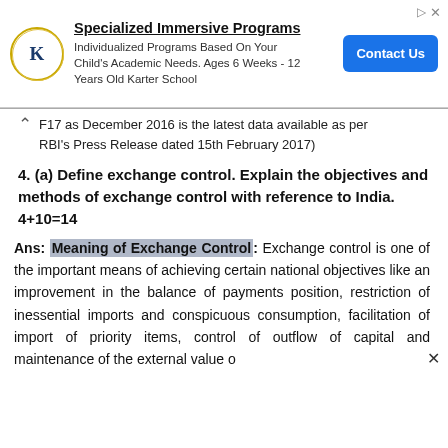[Figure (other): Advertisement banner for Specialized Immersive Programs by Karter School with logo, text, and Contact Us button]
F17 as December 2016 is the latest data available as per RBI's Press Release dated 15th February 2017)
4. (a) Define exchange control. Explain the objectives and methods of exchange control with reference to India. 4+10=14
Ans: Meaning of Exchange Control: Exchange control is one of the important means of achieving certain national objectives like an improvement in the balance of payments position, restriction of inessential imports and conspicuous consumption, facilitation of import of priority items, control of outflow of capital and maintenance of the external value o